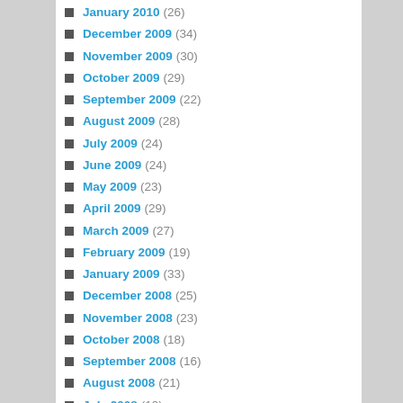January 2010 (26)
December 2009 (34)
November 2009 (30)
October 2009 (29)
September 2009 (22)
August 2009 (28)
July 2009 (24)
June 2009 (24)
May 2009 (23)
April 2009 (29)
March 2009 (27)
February 2009 (19)
January 2009 (33)
December 2008 (25)
November 2008 (23)
October 2008 (18)
September 2008 (16)
August 2008 (21)
July 2008 (19)
June 2008 (24)
May 2008 (17)
April 2008 (19)